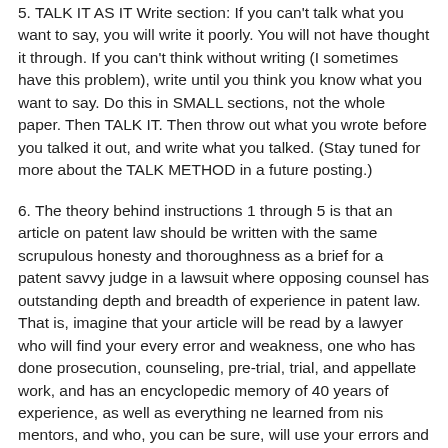5. TALK IT AS IT Write section: If you can't talk what you want to say, you will write it poorly. You will not have thought it through. If you can't think without writing (I sometimes have this problem), write until you think you know what you want to say. Do this in SMALL sections, not the whole paper. Then TALK IT. Then throw out what you wrote before you talked it out, and write what you talked. (Stay tuned for more about the TALK METHOD in a future posting.)
6. The theory behind instructions 1 through 5 is that an article on patent law should be written with the same scrupulous honesty and thoroughness as a brief for a patent savvy judge in a lawsuit where opposing counsel has outstanding depth and breadth of experience in patent law. That is, imagine that your article will be read by a lawyer who will find your every error and weakness, one who has done prosecution, counseling, pre-trial, trial, and appellate work, and has an encyclopedic memory of 40 years of experience, as well as everything ne learned from nis mentors, and who, you can be sure, will use your errors and omissions to win nis case.
Too many people write articles as if the truth is not